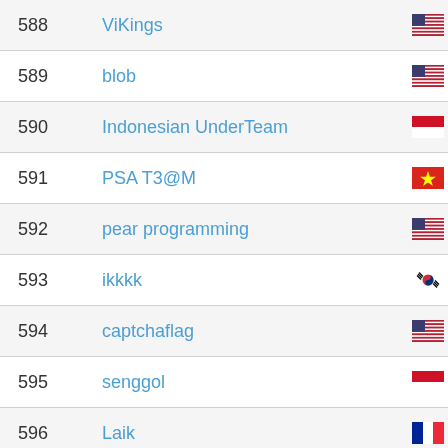| Rank | Team | Country |
| --- | --- | --- |
| 588 | ViKings | USA |
| 589 | blob | USA |
| 590 | Indonesian UnderTeam | Indonesia |
| 591 | PSA T3@M | Vietnam |
| 592 | pear programming | USA |
| 593 | ikkkk | South Korea |
| 594 | captchaflag | USA |
| 595 | senggol | Indonesia |
| 596 | Laik | France |
| 597 | Sudoers | China |
| 598 | IISE | Indonesia |
| 599 | LionHacks | USA |
| 600 | basasn |  |